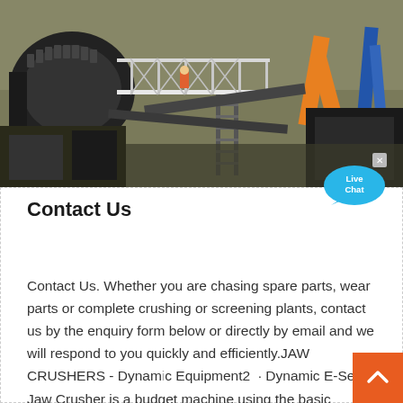[Figure (photo): Industrial crushing and screening plant machinery with orange and blue structural elements, scaffolding, conveyors, and heavy equipment on a job site]
[Figure (infographic): Live Chat speech bubble button in cyan/blue color with 'Live Chat' text and an X close button]
Contact Us
Contact Us. Whether you are chasing spare parts, wear parts or complete crushing or screening plants, contact us by the enquiry form below or directly by email and we will respond to you quickly and efficiently.JAW CRUSHERS - Dynamic Equipment2 · Dynamic E-Series Jaw Crusher is a budget machine using the basic principles of jaw